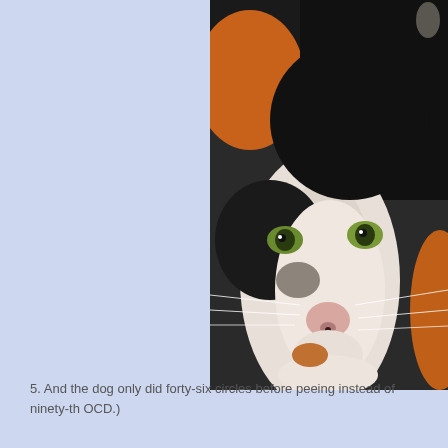[Figure (photo): Close-up photograph of a calico cat face with green eyes, black, white, and orange fur, and a pink nose, set against a light blue background.]
5. And the dog only did forty-six circles before peeing instead of ninety-th OCD.)